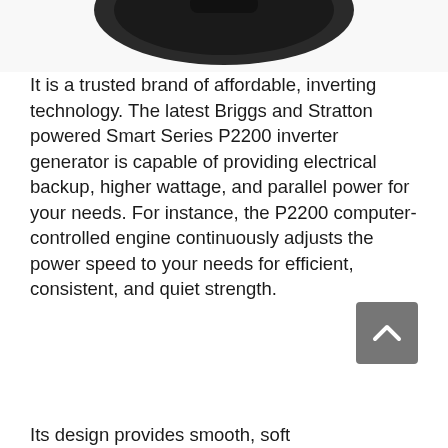[Figure (photo): Partial view of a black generator (Briggs and Stratton Smart Series P2200) shown from the top, cropped at the upper edge of the page.]
It is a trusted brand of affordable, inverting technology. The latest Briggs and Stratton powered Smart Series P2200 inverter generator is capable of providing electrical backup, higher wattage, and parallel power for your needs. For instance, the P2200 computer-controlled engine continuously adjusts the power speed to your needs for efficient, consistent, and quiet strength.
Its design provides smooth, soft